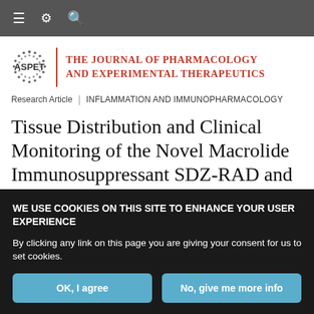Navigation bar with menu, settings, and search icons
[Figure (logo): ASPET logo with circular dotted emblem and The Journal of Pharmacology and Experimental Therapeutics title in red]
Research Article | INFLAMMATION AND IMMUNOPHARMACOLOGY
Tissue Distribution and Clinical Monitoring of the Novel Macrolide Immunosuppressant SDZ-RAD and
WE USE COOKIES ON THIS SITE TO ENHANCE YOUR USER EXPERIENCE

By clicking any link on this page you are giving your consent for us to set cookies.

OK, I agree | No, give me more info